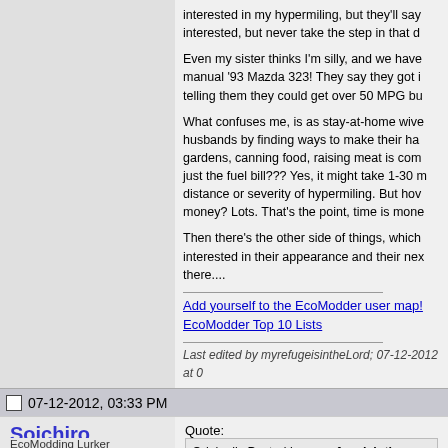interested in my hypermiling, but they'll say interested, but never take the step in that d
Even my sister thinks I'm silly, and we have manual '93 Mazda 323! They say they got it telling them they could get over 50 MPG bu
What confuses me, is as stay-at-home wive husbands by finding ways to make their ha gardens, canning food, raising meat is com just the fuel bill??? Yes, it might take 1-30 m distance or severity of hypermiling. But how money? Lots. That's the point, time is mone
Then there's the other side of things, which interested in their appearance and their nex there....
Add yourself to the EcoModder user map!
EcoModder Top 10 Lists
Last edited by myrefugeisintheLord; 07-12-2012 at 0
07-12-2012, 03:33 PM
Soichiro
EcoModding Lurker
Join Date: Apr 2012
Quote:
Originally Posted by myrefugeisinthe
Soichiro, I'd be curious to know what